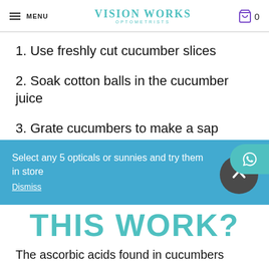MENU | Vision Works Optometrists | 0
1. Use freshly cut cucumber slices
2. Soak cotton balls in the cucumber juice
3. Grate cucumbers to make a sap
Select any 5 opticals or sunnies and try them in store
Dismiss
THIS WORK?
The ascorbic acids found in cucumbers